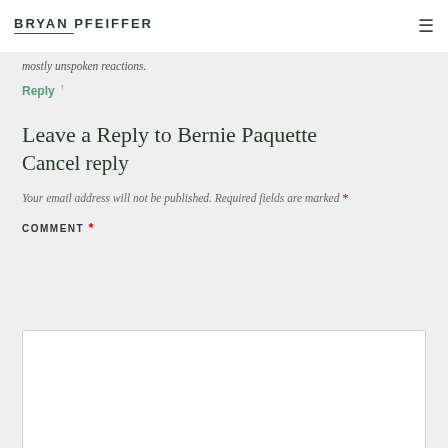BRYAN PFEIFFER
mostly unspoken reactions.
Reply ↑
Leave a Reply to Bernie Paquette
Cancel reply
Your email address will not be published. Required fields are marked *
COMMENT *